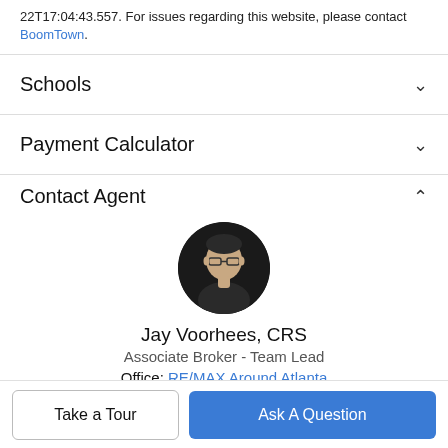22T17:04:43.557. For issues regarding this website, please contact BoomTown.
Schools
Payment Calculator
Contact Agent
[Figure (photo): Circular headshot of Jay Voorhees, a middle-aged man with glasses, against a dark background.]
Jay Voorhees, CRS
Associate Broker - Team Lead
Office: RE/MAX Around Atlanta
Call: (770) 314-8553
Take a Tour
Ask A Question